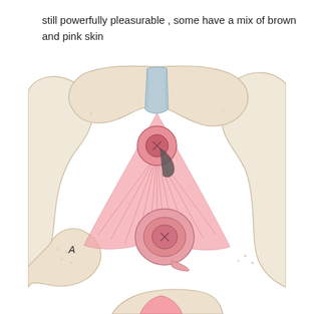still powerfully pleasurable , some have a mix of brown and pink skin
[Figure (illustration): Medical anatomical illustration (labeled A) showing a cross-sectional view of pelvic floor musculature with sphincter anatomy, rendered in pink and beige tones. Two circular sphincter structures are visible with radiating muscle fibers.]
[Figure (illustration): Partial anatomical illustration at bottom of page, continuation of pelvic anatomy series.]